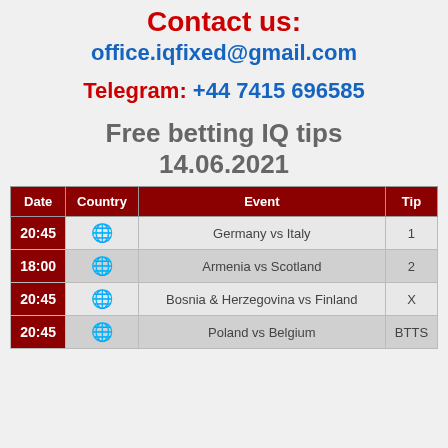Contact us:
office.iqfixed@gmail.com
Telegram: +44 7415 696585
Free betting IQ tips 14.06.2021
| Date | Country | Event | Tip |
| --- | --- | --- | --- |
| 20:45 | 🌐 | Germany vs Italy | 1 |
| 18:00 | 🌐 | Armenia vs Scotland | 2 |
| 20:45 | 🌐 | Bosnia & Herzegovina vs Finland | X |
| 20:45 | 🌐 | Poland vs Belgium | BTTS |